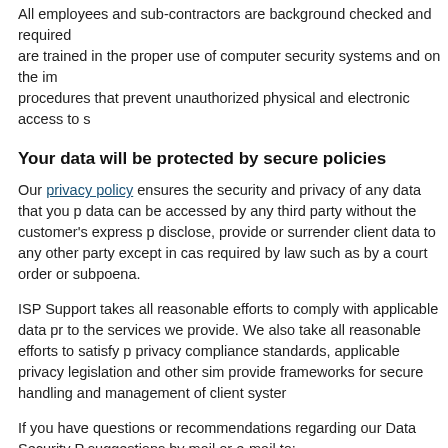All employees and sub-contractors are background checked and required are trained in the proper use of computer security systems and on the im procedures that prevent unauthorized physical and electronic access to s
Your data will be protected by secure policies
Our privacy policy ensures the security and privacy of any data that you p data can be accessed by any third party without the customer's express p disclose, provide or surrender client data to any other party except in cas required by law such as by a court order or subpoena.
ISP Support takes all reasonable efforts to comply with applicable data pr to the services we provide. We also take all reasonable efforts to satisfy p privacy compliance standards, applicable privacy legislation and other sim provide frameworks for secure handling and management of client syster
If you have questions or recommendations regarding our Data Security P suggestions by mail or e-mail to:
ISP Support Ltd.
15/F Hillier Commercial Building
65-67 Bonham Strand East
Hong Kong
Phone: +852-8199-0189